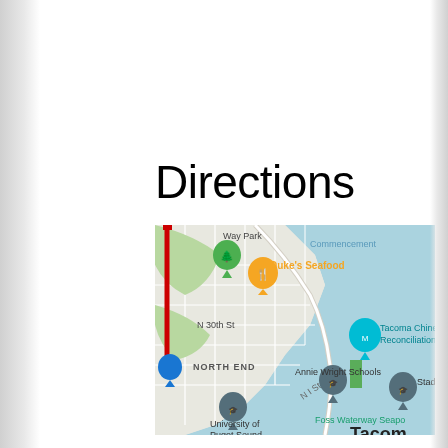Directions
[Figure (map): Google Maps screenshot showing Tacoma, WA area including: Way Park, Duke's Seafood (orange pin), Tacoma Chinese Reconciliation (teal pin), Annie Wright Schools, University of Puget Sound, NORTH END neighborhood label, N 30th St label, N I St label, Foss Waterway Seapo(rt), Stadi(um) label, Commencement (Bay), a red vertical route line on the left side of the map, and 'Tacom' text at bottom right.]